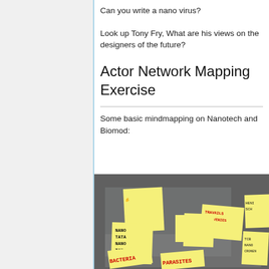Can you write a nano virus?
Look up Tony Fry, What are his views on the designers of the future?
Actor Network Mapping Exercise
Some basic mindmapping on Nanotech and Biomod:
[Figure (photo): A corkboard with yellow sticky notes containing handwritten text including words like NANO, TATA, RELIANCE, BACTERIA, PARASITES, DELIVERIES, TRAVELS, and other text on multiple sticky notes arranged on a grey board.]